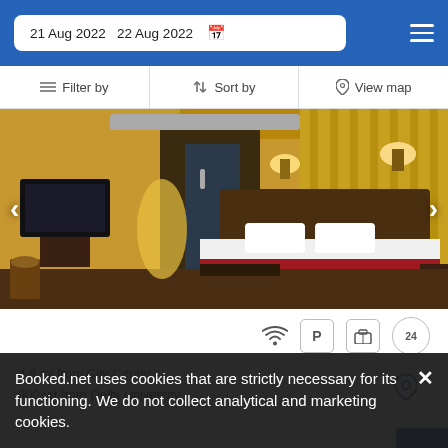21 Aug 2022   22 Aug 2022
Filter by   Sort by   View map
[Figure (photo): Hotel room interior showing a bed with white linens and red runner, wall-mounted TV, wooden furniture, warm golden lighting, and wall sconces.]
4.8 mi from City Center
900 yd from Delhi University
Booked.net uses cookies that are strictly necessary for its functioning. We do not collect analytical and marketing cookies.